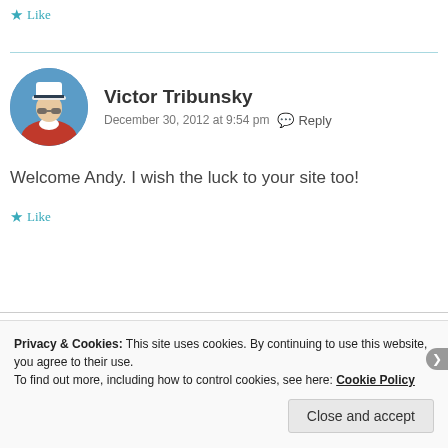Like
Victor Tribunsky
December 30, 2012 at 9:54 pm  Reply
Welcome Andy. I wish the luck to your site too!
Like
Privacy & Cookies: This site uses cookies. By continuing to use this website, you agree to their use.
To find out more, including how to control cookies, see here: Cookie Policy
Close and accept